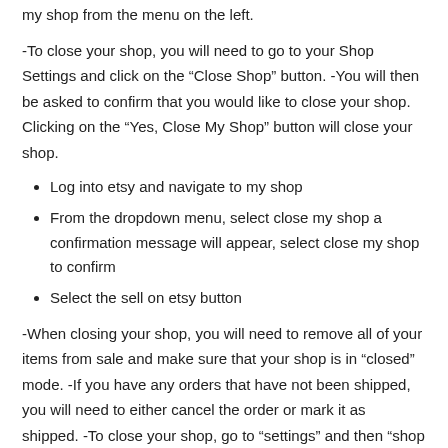my shop from the menu on the left.
-To close your shop, you will need to go to your Shop Settings and click on the “Close Shop” button. -You will then be asked to confirm that you would like to close your shop. Clicking on the “Yes, Close My Shop” button will close your shop.
Log into etsy and navigate to my shop
From the dropdown menu, select close my shop a confirmation message will appear, select close my shop to confirm
Select the sell on etsy button
-When closing your shop, you will need to remove all of your items from sale and make sure that your shop is in “closed” mode. -If you have any orders that have not been shipped, you will need to either cancel the order or mark it as shipped. -To close your shop, go to “settings” and then “shop settings.” From there, you will be able to change the status of your shop.